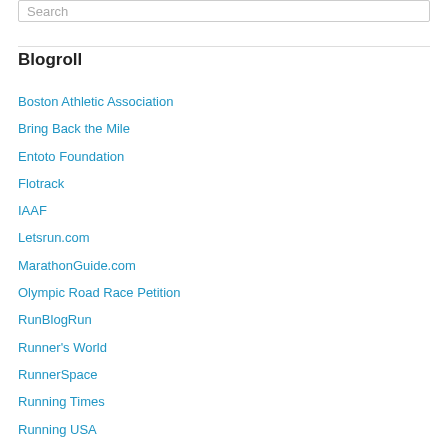Blogroll
Boston Athletic Association
Bring Back the Mile
Entoto Foundation
Flotrack
IAAF
Letsrun.com
MarathonGuide.com
Olympic Road Race Petition
RunBlogRun
Runner's World
RunnerSpace
Running Times
Running USA
Track & Field News
TReavis Fitness (Team Toya)